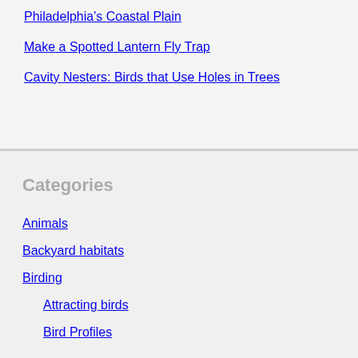Philadelphia's Coastal Plain
Make a Spotted Lantern Fly Trap
Cavity Nesters: Birds that Use Holes in Trees
Categories
Animals
Backyard habitats
Birding
Attracting birds
Bird Profiles